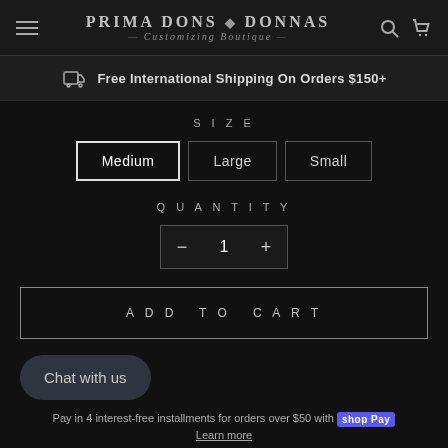Prima Dons ♦ Donnas — Customizing Boutique
Free International Shipping On Orders $150+
SIZE
Medium  Large  Small
QUANTITY
− 1 +
ADD TO CART
Chat with us
Pay in 4 interest-free installments for orders over $50 with Shop Pay
Learn more